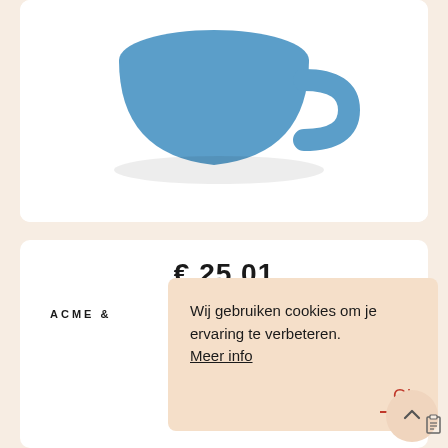[Figure (photo): Blue ceramic coffee mug partially visible at top of white product card]
[Figure (screenshot): Bottom product card showing price text partially obscured by cookie banner, brand text ACME & partially visible, and a cookie consent overlay with text 'Wij gebruiken cookies om je ervaring te verbeteren. Meer info' with an Ok button]
Wij gebruiken cookies om je ervaring te verbeteren. Meer info
Ok